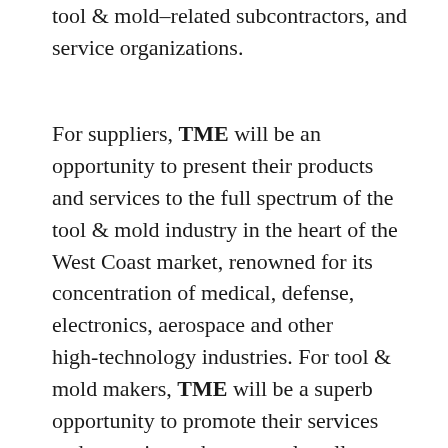tool & mold–related subcontractors, and service organizations.
For suppliers, TME will be an opportunity to present their products and services to the full spectrum of the tool & mold industry in the heart of the West Coast market, renowned for its concentration of medical, defense, electronics, aerospace and other high-technology industries. For tool & mold makers, TME will be a superb opportunity to promote their services and expertise and, as a result, sell more molds in one of the most attractive plastics processing markets in the world.